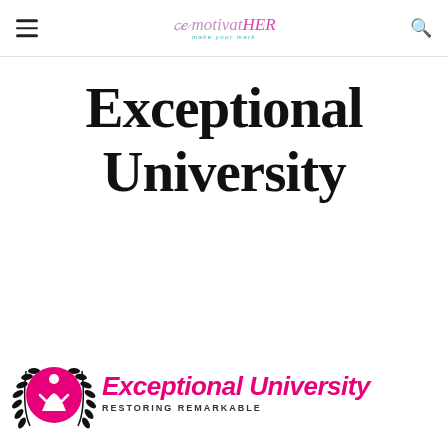motivatHER — make your mark
Exceptional University
[Figure (logo): Exceptional University logo: laurel wreath with figure silhouette in pink circle, beside pink italic 'Exceptional University' text and tagline 'RESTORING REMARKABLE']